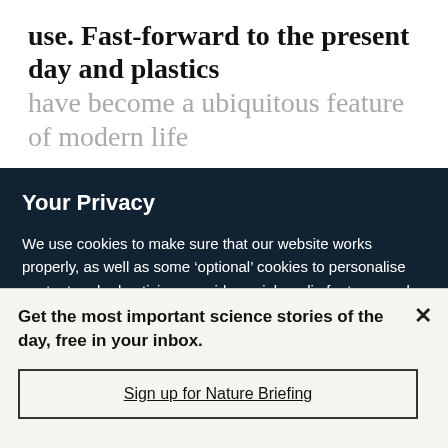use. Fast-forward to the present day and plastics have become a ubiquitous feature of modern life
Your Privacy
We use cookies to make sure that our website works properly, as well as some ‘optional’ cookies to personalise content and advertising, provide social media features and analyse how people use our site. By accepting some or all optional cookies you give consent to the processing of your personal data, including transfer to third parties, some in countries outside of the European Economic Area that do not offer the same data protection standards as the country where you live. You can decide which optional cookies to accept by clicking on ‘Manage Settings’, where you can
Get the most important science stories of the day, free in your inbox.
Sign up for Nature Briefing